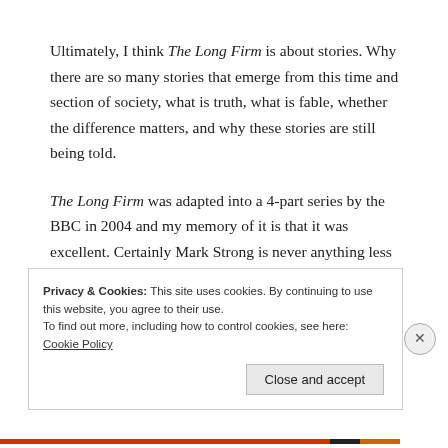Ultimately, I think The Long Firm is about stories. Why there are so many stories that emerge from this time and section of society, what is truth, what is fable, whether the difference matters, and why these stories are still being told.
The Long Firm was adapted into a 4-part series by the BBC in 2004 and my memory of it is that it was excellent. Certainly Mark Strong is never anything less than compelling:
Privacy & Cookies: This site uses cookies. By continuing to use this website, you agree to their use.
To find out more, including how to control cookies, see here: Cookie Policy